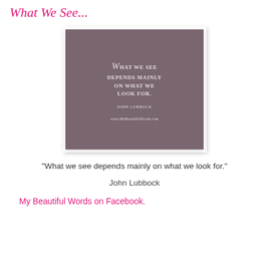What We See...
[Figure (illustration): Quote card with dark mauve/brown background displaying the text 'What we see depends mainly on what we look for.' attributed to John Lubbock, with website www.MyBeautifulWords.com at bottom]
"What we see depends mainly on what we look for."
John Lubbock
My Beautiful Words on Facebook.